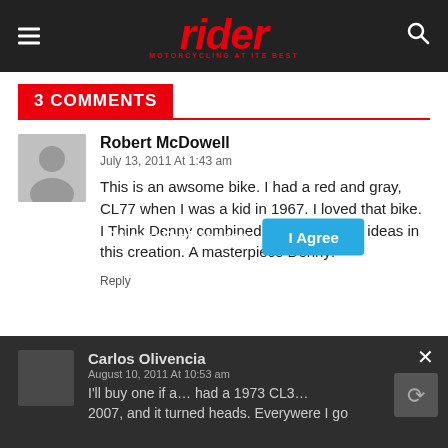rider — MOTORCYCLING AT ITS BEST
3 COMMENTS
Robert McDowell
July 13, 2011 At 1:43 am
This is an awsome bike. I had a red and gray, CL77 when I was a kid in 1967. I loved that bike. I Think Denny combined the best of two ideas in this creation. A masterpiece Denny!
Reply
Carlos Olivencia
August 10, 2011 At 10:53 am
I'll buy one if a... had a 1973 CL3... 2007, and it turned heads. Everywere I go
Privacy Preferences
I Agree